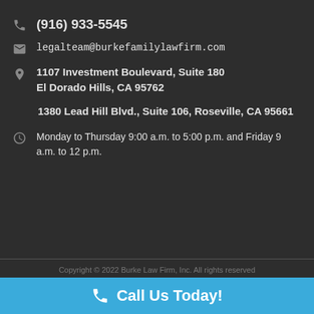(916) 933-5545
legalteam@burkefamilylawfirm.com
1107 Investment Boulevard, Suite 180
El Dorado Hills, CA 95762
1380 Lead Hill Blvd., Suite 106, Roseville, CA 95661
Monday to Thursday 9:00 a.m. to 5:00 p.m. and Friday 9 a.m. to 12 p.m.
Copyright © 2022 Burke Law Firm, Inc. All rights reserved
Call Us Today!